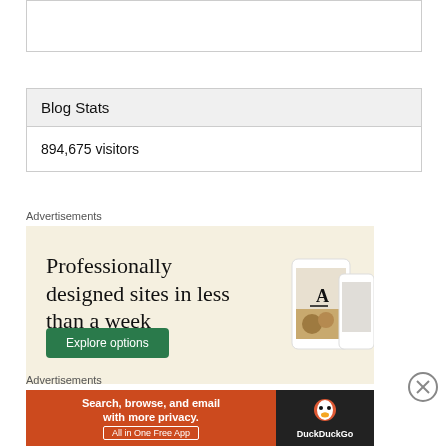[Figure (other): Empty white box with border at top of page]
Blog Stats
894,675 visitors
Advertisements
[Figure (illustration): Advertisement banner: 'Professionally designed sites in less than a week' with Explore options button on beige background with phone mockup]
[Figure (other): Close/X button circle]
Advertisements
[Figure (illustration): DuckDuckGo advertisement: 'Search, browse, and email with more privacy. All in One Free App' on orange background with DuckDuckGo logo on dark background]